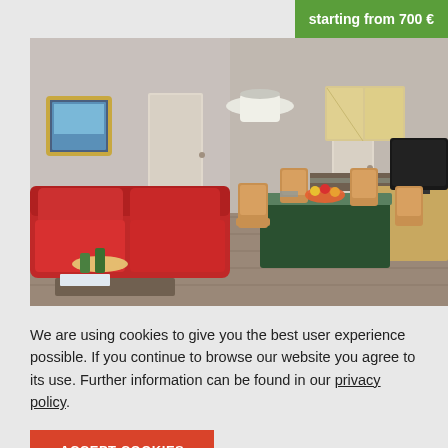starting from 700 €
[Figure (photo): Interior photo of an apartment showing a red sofa on the left, a dining table with wooden chairs in the center, a kitchen area with cabinets in the background, and a flat-screen TV on the right. A framed artwork hangs on the left wall and there is a ceiling light fixture in the center.]
We are using cookies to give you the best user experience possible. If you continue to browse our website you agree to its use. Further information can be found in our privacy policy.
ACCEPT COOKIES